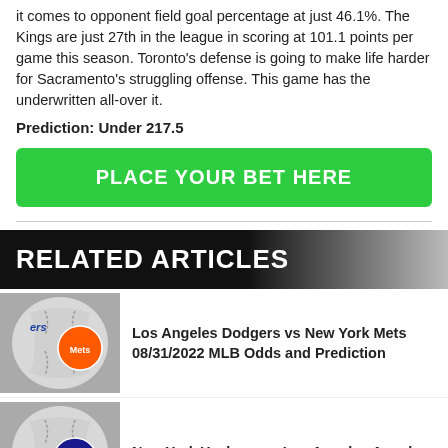it comes to opponent field goal percentage at just 46.1%. The Kings are just 27th in the league in scoring at 101.1 points per game this season. Toronto's defense is going to make life harder for Sacramento's struggling offense. This game has the underwritten all-over it.
Prediction: Under 217.5
[Figure (other): Green button with text PLACE YOUR BET HERE]
RELATED ARTICLES
[Figure (photo): Baseball close-up with Mets logo]
Los Angeles Dodgers vs New York Mets 08/31/2022 MLB Odds and Prediction
[Figure (photo): Baseball close-up with Yankees logo]
New York Yankees vs Los Angeles Angels